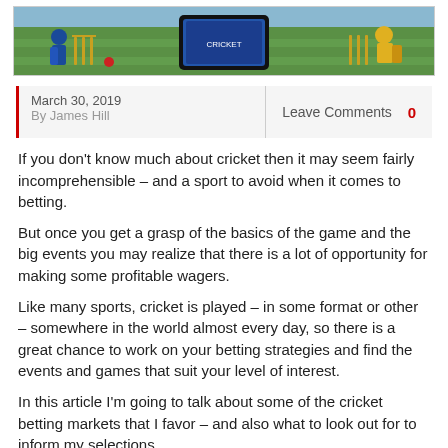[Figure (photo): Cricket match scene with players and a smartphone/tablet overlay in the center, green field background]
March 30, 2019
By James Hill
Leave Comments   0
If you don't know much about cricket then it may seem fairly incomprehensible – and a sport to avoid when it comes to betting.
But once you get a grasp of the basics of the game and the big events you may realize that there is a lot of opportunity for making some profitable wagers.
Like many sports, cricket is played – in some format or other – somewhere in the world almost every day, so there is a great chance to work on your betting strategies and find the events and games that suit your level of interest.
In this article I'm going to talk about some of the cricket betting markets that I favor – and also what to look out for to inform my selections.
If you are a cricket novice then you may be able to pick up a few hints and tips to help you with some of the big cricket events